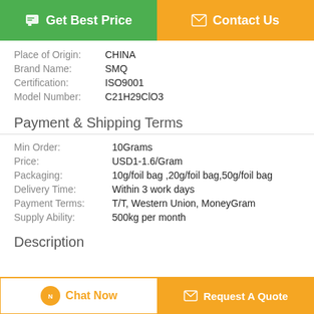[Figure (other): Two buttons: 'Get Best Price' (green) and 'Contact Us' (orange)]
Place of Origin: CHINA
Brand Name: SMQ
Certification: ISO9001
Model Number: C21H29ClO3
Payment & Shipping Terms
Min Order: 10Grams
Price: USD1-1.6/Gram
Packaging: 10g/foil bag ,20g/foil bag,50g/foil bag
Delivery Time: Within 3 work days
Payment Terms: T/T, Western Union, MoneyGram
Supply Ability: 500kg per month
Description
[Figure (other): Two bottom buttons: 'Chat Now' (white/orange border) and 'Request A Quote' (orange)]